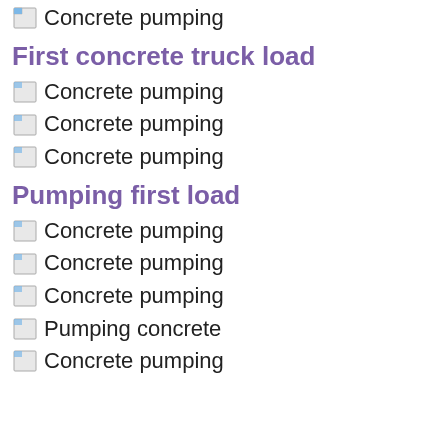Concrete pumping
First concrete truck load
Concrete pumping
Concrete pumping
Concrete pumping
Pumping first load
Concrete pumping
Concrete pumping
Concrete pumping
Pumping concrete
Concrete pumping